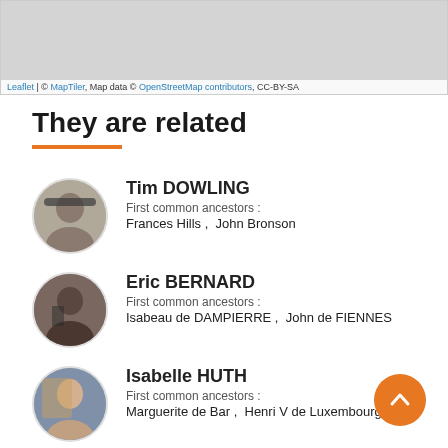[Figure (map): Map area (top portion visible), gray tile background. Attribution bar at bottom: Leaflet | © MapTiler, Map data © OpenStreetMap contributors, CC-BY-SA]
They are related
Tim DOWLING
First common ancestors :
Frances Hills ,  John Bronson
Eric BERNARD
First common ancestors :
Isabeau de DAMPIERRE ,  John de FIENNES
Isabelle HUTH
First common ancestors :
Marguerite de Bar ,  Henri V de Luxembourg